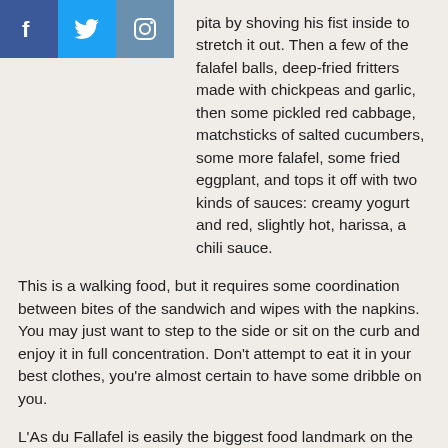[Figure (other): Social media share buttons: Facebook (blue), Twitter (light blue), Instagram (grey-blue)]
pita by shoving his fist inside to stretch it out. Then a few of the falafel balls, deep-fried fritters made with chickpeas and garlic, then some pickled red cabbage, matchsticks of salted cucumbers, some more falafel, some fried eggplant, and tops it off with two kinds of sauces: creamy yogurt and red, slightly hot, harissa, a chili sauce.
This is a walking food, but it requires some coordination between bites of the sandwich and wipes with the napkins. You may just want to step to the side or sit on the curb and enjoy it in full concentration. Don’t attempt to eat it in your best clothes, you’re almost certain to have some dribble on you.
L’As du Fallafel is easily the biggest food landmark on the street, which also has some other Middle Eastern restaurants and a number of patisseries and chocolatiers. That title used to belong to Jo Goldenberg’s, a full-service deli that closed a few years ago. Although the name is still over the door, the Goldenberg’s space now sells clothing.
L’As du Fallafel is at 34, Rue des Rosiers, Paris. It’s open Sunday through Friday. Like most other businesses on the street, it is shuttered Saturdays.